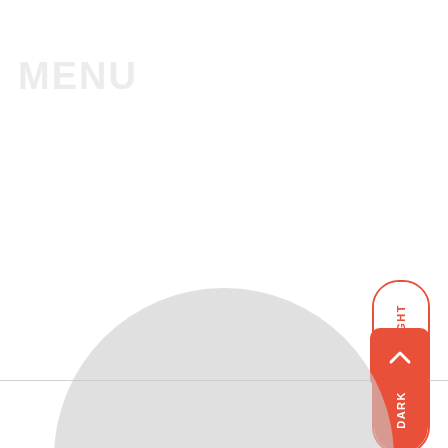[Figure (screenshot): Faint watermark-style text in light gray at top left of page]
[Figure (infographic): Vertical toggle pill button on right side with LIGHT (top, white background, red text) and DARK (bottom, red background, white text) labels]
[Figure (infographic): Red rounded square scroll-to-top button with white upward chevron arrow, positioned bottom right]
[Figure (illustration): Large gray circle partially visible at bottom center of page, behind a horizontal divider line]